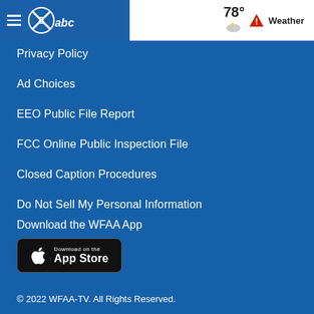WFAA ABC — 78° Weather
Privacy Policy
Ad Choices
EEO Public File Report
FCC Online Public Inspection File
Closed Caption Procedures
Do Not Sell My Personal Information
Download the WFAA App
[Figure (screenshot): Download on the App Store button]
© 2022 WFAA-TV. All Rights Reserved.